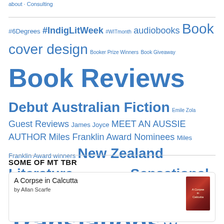about · Consulting
#6Degrees #IndigLitWeek #WITmonth audiobooks Book cover design Booker Prize Winners Book Giveaway Book Reviews Debut Australian Fiction Emile Zola Guest Reviews James Joyce MEET AN AUSSIE AUTHOR Miles Franklin Award Nominees Miles Franklin Award winners New Zealand Literature Oxford World's Classics Sensational Snippets Translations Women in Translation
SOME OF MT TBR
A Corpse in Calcutta
by Allan Scarfe
[Figure (illustration): Book cover thumbnail for A Corpse in Calcutta, red/dark toned cover image]